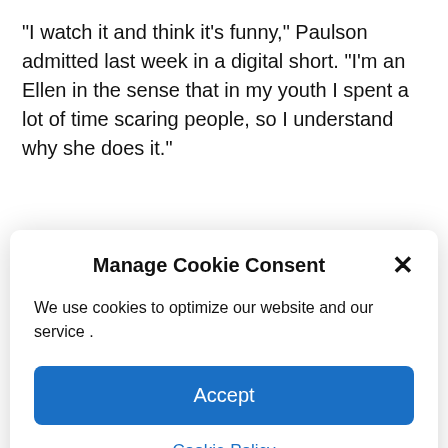“I watch it and think it’s funny,” Paulson admitted last week in a digital short. “I’m an Ellen in the sense that in my youth I spent a lot of time scaring people, so I understand why she does it.”
Manage Cookie Consent
We use cookies to optimize our website and our service .
Accept
Cookie Policy
2017 by a staffer wearing a New York Yankees uniform while in a relationship with baseball star Alex Rodriguez.
“This a- has been here all the time?” Lopez exclaimed. “Are you kidding me?”